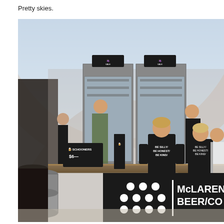Pretty skies.
[Figure (photo): Outdoor beer festival bar scene. A woman in a black t-shirt reading 'BE SILLY / BE HONEST / BE KIND' stands behind a bar counter. The bar front shows the McLaren Beer/Co logo with white dots and text. A sign on the bar reads 'SCHOONERS $6—'. Beer kegs are visible below the counter. Refrigerators with wine glasses are behind the bar. Other staff and patrons are visible in the background under a large dome tent structure with evening sky visible.]